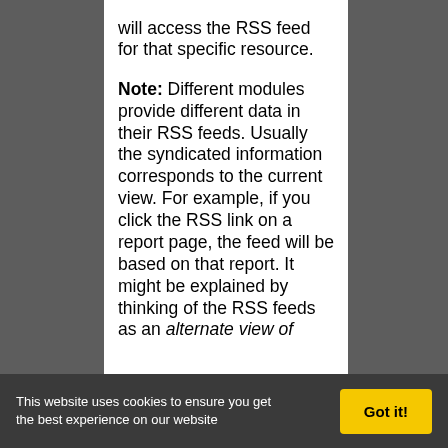will access the RSS feed for that specific resource.
Note: Different modules provide different data in their RSS feeds. Usually the syndicated information corresponds to the current view. For example, if you click the RSS link on a report page, the feed will be based on that report. It might be explained by thinking of the RSS feeds as an alternate view of
This website uses cookies to ensure you get the best experience on our website